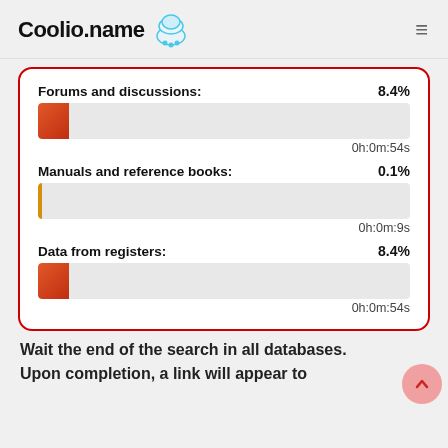Coolio.name
[Figure (bar-chart): Three progress bars showing search completion percentages with time estimates]
Wait the end of the search in all databases. Upon completion, a link will appear to